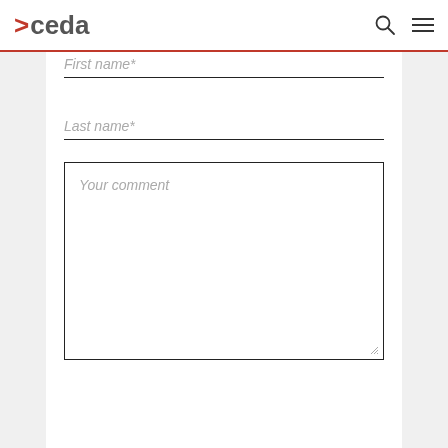>ceda
First name*
Last name*
Your comment